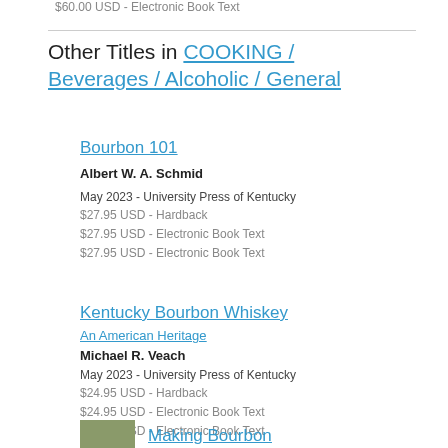$60.00 USD - Electronic Book Text
Other Titles in COOKING / Beverages / Alcoholic / General
Bourbon 101
Albert W. A. Schmid
May 2023 - University Press of Kentucky
$27.95 USD - Hardback
$27.95 USD - Electronic Book Text
$27.95 USD - Electronic Book Text
Kentucky Bourbon Whiskey
An American Heritage
Michael R. Veach
May 2023 - University Press of Kentucky
$24.95 USD - Hardback
$24.95 USD - Electronic Book Text
$24.95 USD - Electronic Book Text
Making Bourbon